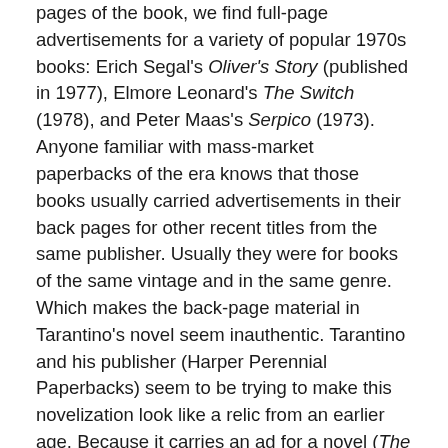pages of the book, we find full-page advertisements for a variety of popular 1970s books: Erich Segal's Oliver's Story (published in 1977), Elmore Leonard's The Switch (1978), and Peter Maas's Serpico (1973). Anyone familiar with mass-market paperbacks of the era knows that those books usually carried advertisements in their back pages for other recent titles from the same publisher. Usually they were for books of the same vintage and in the same genre. Which makes the back-page material in Tarantino's novel seem inauthentic. Tarantino and his publisher (Harper Perennial Paperbacks) seem to be trying to make this novelization look like a relic from an earlier age. Because it carries an ad for a novel (The Switch) published in 1978, we have to assume the illusion they want to create is that this paperback was published no earlier than that.